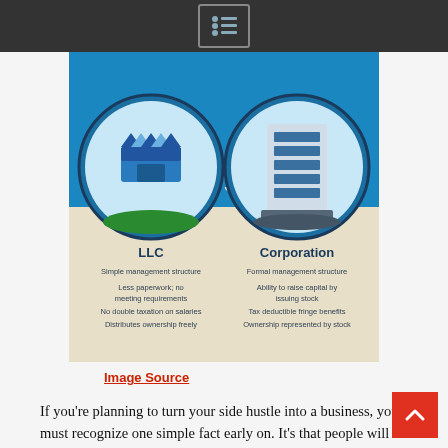[menu icon]
[Figure (infographic): Infographic comparing LLC vs Corporation. Left side shows a store/shop icon inside a circle with label 'LLC' and bullet points: Simple management structure, Less paperwork; no meeting requirements, No double taxation on salaries, Distributes ownership freely. Right side shows a corporate building icon inside a circle with label 'Corporation' and bullet points: Formal management structure, Ability to raise capital by issuing stock, Tax deductible fringe benefits, Ownership represented by stock. 'VS' text in center. Blue top background, beige bottom background.]
Image Source
If you're planning to turn your side hustle into a business, you must recognize one simple fact early on. It's that people will only take your new business as seriously as you do. So, it's not enough to dream up a name and start promoting it all over town. You have to